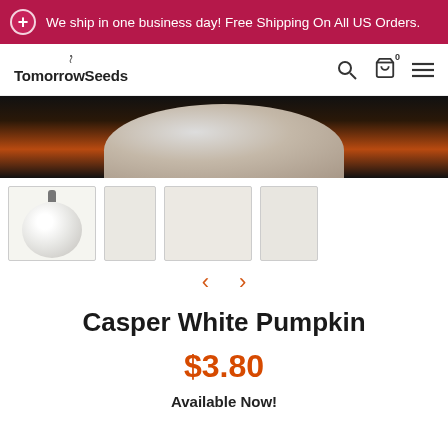We ship in one business day! Free Shipping On All US Orders.
[Figure (logo): TomorrowSeeds logo with search, cart, and menu icons]
[Figure (photo): Close-up top view of a Casper White Pumpkin on dark background]
[Figure (photo): Thumbnail gallery row showing white pumpkin and additional product images with left/right navigation arrows]
Casper White Pumpkin
$3.80
Available Now!